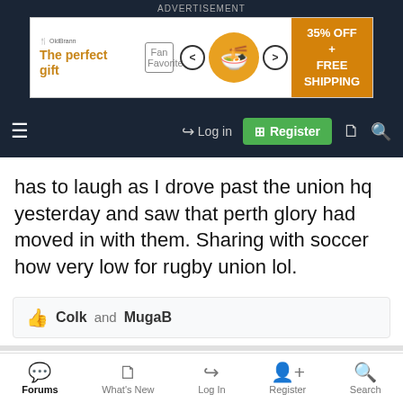[Figure (screenshot): Advertisement banner: 'The perfect gift' with food bowl imagery and '35% OFF + FREE SHIPPING' offer]
[Figure (screenshot): Navigation bar with hamburger menu, Log in button, Register button (green), document icon, and search icon]
has to laugh as I drove past the union hq yesterday and saw that perth glory had moved in with them. Sharing with soccer how very low for rugby union lol.
Colk and MugaB
ReddFelon
Juniors
Messages 1,435
[Figure (screenshot): Bottom navigation bar with Forums, What's New, Log In, Register, Search icons]